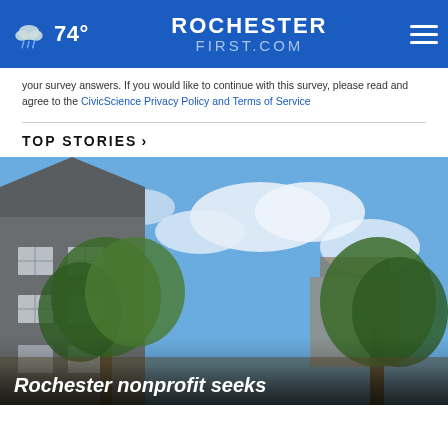74° ROCHESTERFIRST.COM
your survey answers. If you would like to continue with this survey, please read and agree to the CivicScience Privacy Policy and Terms of Service
TOP STORIES ›
[Figure (photo): Residential building with grey siding and green trees against a blue sky with clouds]
Rochester nonprofit seeks